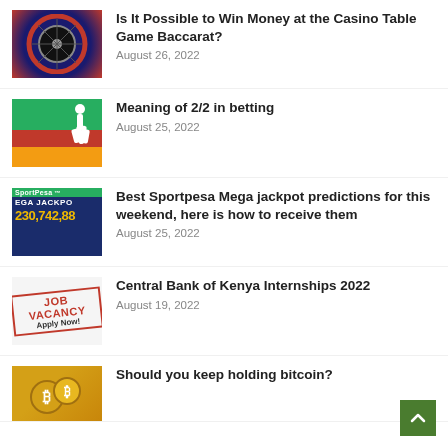[Figure (photo): Roulette wheel thumbnail]
Is It Possible to Win Money at the Casino Table Game Baccarat?
August 26, 2022
[Figure (photo): Soccer player silhouette on German flag colors]
Meaning of 2/2 in betting
August 25, 2022
[Figure (photo): Sportpesa Mega Jackpot advertisement image showing 230,742,88]
Best Sportpesa Mega jackpot predictions for this weekend, here is how to receive them
August 25, 2022
[Figure (photo): Job Vacancy Apply Now red stamp image]
Central Bank of Kenya Internships 2022
August 19, 2022
[Figure (photo): Bitcoin coins thumbnail]
Should you keep holding bitcoin?